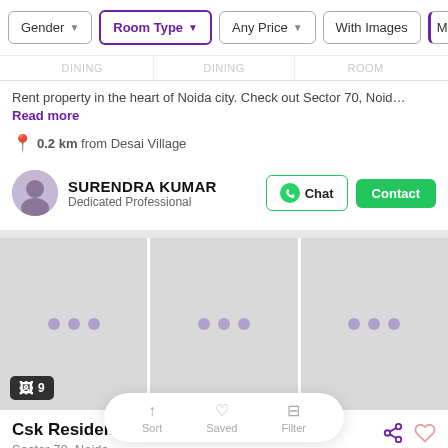Gender | Room Type | Any Price | With Images | More
DINING   DINING   ROOM
Rent property in the heart of Noida city. Check out Sector 70, Noid… Read more
0.2 km from Desai Village
SURENDRA KUMAR
Dedicated Professional
[Figure (photo): Property image gallery with 3 loading panels and image count badge showing 9]
Csk Residency No Comission
Sector 70, Noida
₹7,500/bed — ₹12,000/room
GIRLS  BOYS
TRIPLE   DOUBLE   PRIVATE